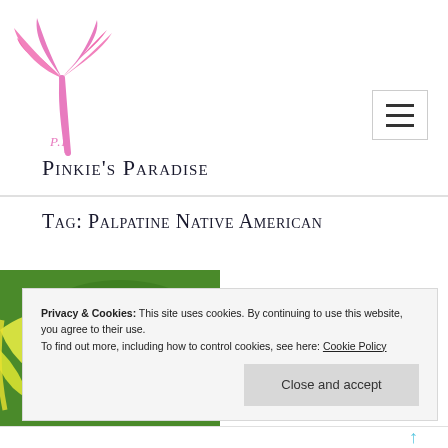[Figure (logo): Pink palm tree logo with 'P.P.' cursive text at the base, for Pinkie's Paradise]
Pinkie's Paradise
Tag: Palpatine Native American
[Figure (photo): Partial image of tropical fruits (banana and green leaves) at the bottom left]
Privacy & Cookies: This site uses cookies. By continuing to use this website, you agree to their use.
To find out more, including how to control cookies, see here: Cookie Policy
Close and accept